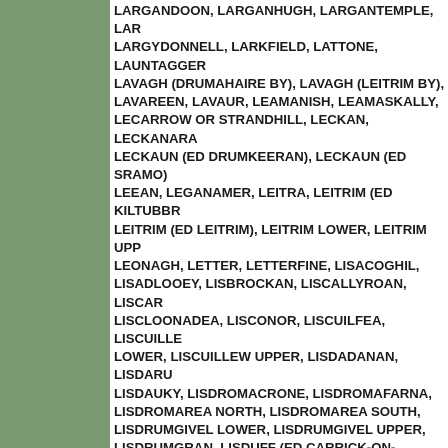LARGANDOON, LARGANHUGH, LARGANTEMPLE, LARGYDONNELL, LARKFIELD, LATTONE, LAUNTAGGA, LAVAGH (DRUMAHAIRE BY), LAVAGH (LEITRIM BY), LAVAREEN, LAVAUR, LEAMANISH, LEAMASKALLY, LECARROW OR STRANDHILL, LECKAN, LECKANARANE, LECKAUN (ED DRUMKEERAN), LECKAUN (ED SRAMO), LEEAN, LEGANAMER, LEITRA, LEITRIM (ED KILTUBBR), LEITRIM (ED LEITRIM), LEITRIM LOWER, LEITRIM UPPER, LEONAGH, LETTER, LETTERFINE, LISACOGHIL, LISADLOOEY, LISBROCKAN, LISCALLYROAN, LISCAR, LISCLOONADEA, LISCONOR, LISCUILFEA, LISCUILLEW LOWER, LISCUILLEW UPPER, LISDADANAN, LISDARUR, LISDAUKY, LISDROMACRONE, LISDROMAFARNA, LISDROMAREA NORTH, LISDROMAREA SOUTH, LISDRUMGIVEL LOWER, LISDRUMGIVEL UPPER, LISDRUMGRAN, LISDUFF (ED CARRICK-ON-SHANNON), LISDUFF (ED DRUMSNA), LISFUILTAGHAN, LISGARNE, LISGAVNEEN, LISGILLOCK GLEBE, LISGOOL, LISGOR, LISGRUDDY, LISLAHY, LISLEA, LISMAKEEGAN, LISMA, LISMOYLE, LISNABRACK (LEITRIM BY), LISNABRACK (ROSCLOGHER BY), LISNAGAT, LISNAGEA, LISNAGO, LISNANAW, LISNANORRUS, LISNATULLAGH, LISOMA, LISROUGHTY, LISSACARN, LISSAGARVAN, LISSEEGH, LISSINAGROAGH, LISSINISKA, LONGFIELD, LONGSTO, LOUGHAPHONTA, LOUGHAPHONTA BARR, LOUGHCO, LOUGHMUIRRAN, LOUGHROS, LOUGHSCUR, LUGALUSTRAN, LUGASNAGHTA, LUGHAWNAGH, LUGMEELTAN, LUGMEEN, LUGMORE, LUGNAFAUGHE, LUGNAGON, LUGNASKEEHAN, LURGA, LURGAN, MAGHERAMORE, MAGURK, MAHANAGH (DRUMAHAIRE), MAHANAGH (LEITRIM BY), MAHANAGH (PART OF)